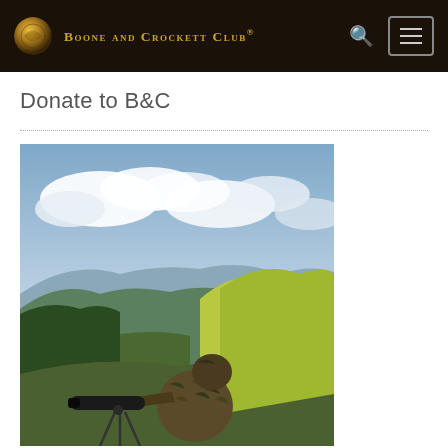Boone and Crockett Club®
Donate to B&C
[Figure (photo): A hunter in full camouflage clothing looking through a spotting scope mounted on a tripod, set against a scenic mountain valley backdrop with green hills, forested slopes, and a cloudy sky.]